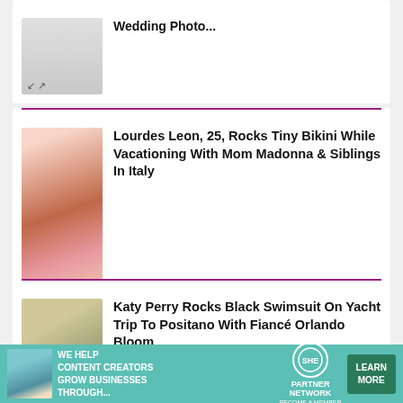[Figure (photo): Partial article: wedding photo, partially visible at top of page]
[Figure (photo): Lourdes Leon wearing pink/white hat, smiling, red hair]
Lourdes Leon, 25, Rocks Tiny Bikini While Vacationing With Mom Madonna & Siblings In Italy
[Figure (photo): Katy Perry wearing sunglasses and hat on yacht]
Katy Perry Rocks Black Swimsuit On Yacht Trip To Positano With Fiancé Orlando Bloom
[Figure (infographic): SHE Media Partner Network ad banner: We help content creators grow businesses through... Learn More]